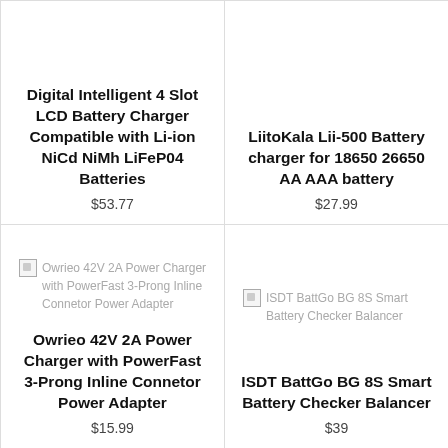Digital Intelligent 4 Slot LCD Battery Charger Compatible with Li-ion NiCd NiMh LiFeP04 Batteries
$53.77
LiitoKala Lii-500 Battery charger for 18650 26650 AA AAA battery
$27.99
[Figure (photo): Broken image placeholder for Owrieo 42V 2A Power Charger with PowerFast 3-Prong Inline Connetor Power Adapter]
Owrieo 42V 2A Power Charger with PowerFast 3-Prong Inline Connetor Power Adapter
$15.99
[Figure (photo): Broken image placeholder for ISDT BattGo BG 8S Smart Battery Checker Balancer]
ISDT BattGo BG 8S Smart Battery Checker Balancer
$39